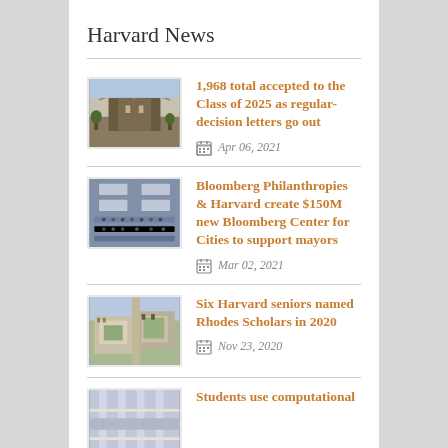Harvard News
1,968 total accepted to the Class of 2025 as regular-decision letters go out
Apr 06, 2021
Bloomberg Philanthropies & Harvard create $150M new Bloomberg Center for Cities to support mayors
Mar 02, 2021
Six Harvard seniors named Rhodes Scholars in 2020
Nov 23, 2020
Students use computational